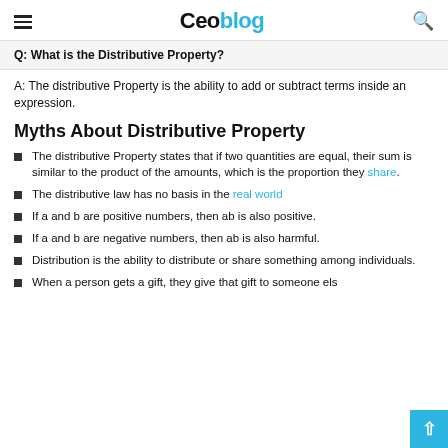Ceoblog
Q: What is the Distributive Property?
A: The distributive Property is the ability to add or subtract terms inside an expression.
Myths About Distributive Property
The distributive Property states that if two quantities are equal, their sum is similar to the product of the amounts, which is the proportion they share.
The distributive law has no basis in the real world
If a and b are positive numbers, then ab is also positive.
If a and b are negative numbers, then ab is also harmful.
Distribution is the ability to distribute or share something among individuals.
When a person gets a gift, they give that gift to someone else